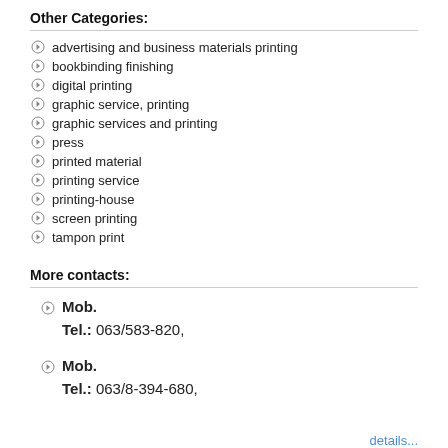Other Categories:
advertising and business materials printing
bookbinding finishing
digital printing
graphic service, printing
graphic services and printing
press
printed material
printing service
printing-house
screen printing
tampon print
More contacts:
Mob.
Tel.: 063/583-820,
Mob.
Tel.: 063/8-394-680,
details...